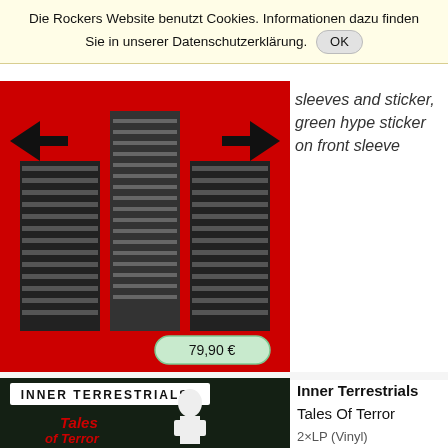Die Rockers Website benutzt Cookies. Informationen dazu finden Sie in unserer Datenschutzerklärung. OK
[Figure (photo): Album cover with red background showing black and white buildings/towers, price badge 79,90 €]
sleeves and sticker, green hype sticker on front sleeve
[Figure (photo): Inner Terrestrials - Tales Of Terror album cover, dark background with illustrated figure and red text]
Inner Terrestrials
Tales Of Terror
2×LP (Vinyl)